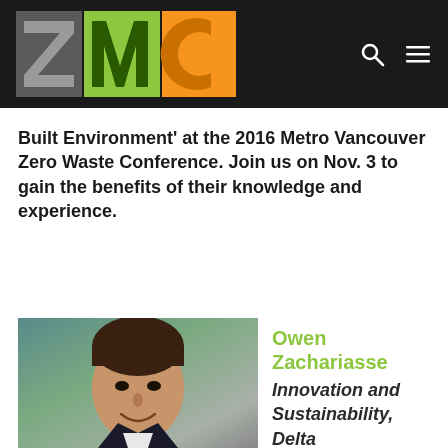[Figure (logo): ZWC (Zero Waste Conference) logo with stylized Z in grey, W in green, C in orange, on dark background with search and menu icons]
Built Environment' at the 2016 Metro Vancouver Zero Waste Conference. Join us on Nov. 3 to gain the benefits of their knowledge and experience.
[Figure (photo): Professional headshot of Owen Zachariasse, a man with dark hair wearing a dark suit, smiling, with blurred green and blue background]
Owen Zachariasse Innovation and Sustainability, Delta